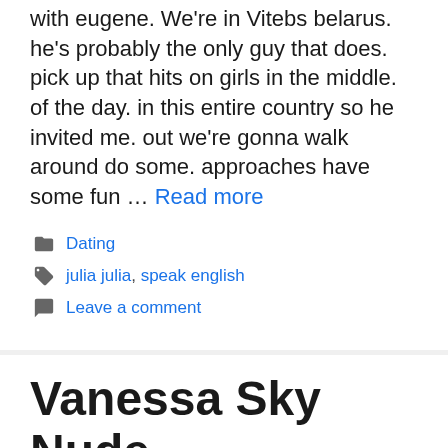with eugene. We're in Vitebs belarus. he's probably the only guy that does. pick up that hits on girls in the middle. of the day. in this entire country so he invited me. out we're gonna walk around do some. approaches have some fun … Read more
Dating
julia julia, speak english
Leave a comment
Vanessa Sky Nude
25.08.2022 by Alfred